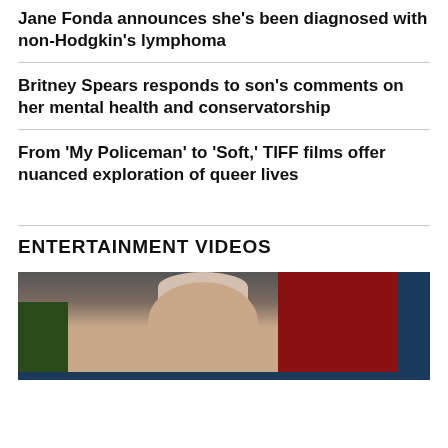Jane Fonda announces she's been diagnosed with non-Hodgkin's lymphoma
Britney Spears responds to son's comments on her mental health and conservatorship
From 'My Policeman' to 'Soft,' TIFF films offer nuanced exploration of queer lives
ENTERTAINMENT VIDEOS
[Figure (photo): Video thumbnail showing a bald person against a dark background with blue and red tones]